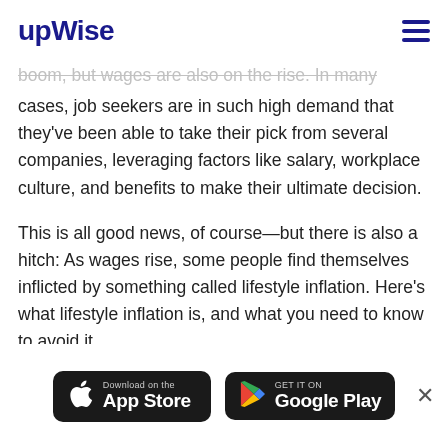upwise
boom, but wages are also on the rise. In many cases, job seekers are in such high demand that they've been able to take their pick from several companies, leveraging factors like salary, workplace culture, and benefits to make their ultimate decision.
This is all good news, of course—but there is also a hitch: As wages rise, some people find themselves inflicted by something called lifestyle inflation. Here's what lifestyle inflation is, and what you need to know to avoid it.
[Figure (other): App Store and Google Play download buttons at the bottom of the page, with a close (×) button on the right.]